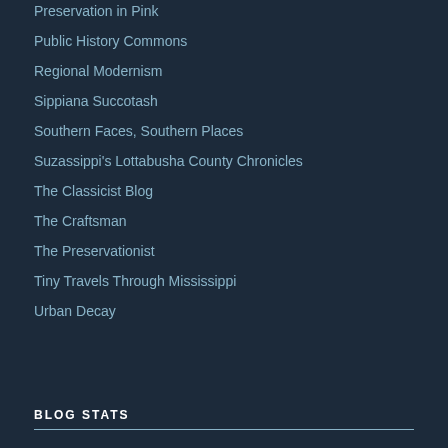Preservation in Pink
Public History Commons
Regional Modernism
Sippiana Succotash
Southern Faces, Southern Places
Suzassippi's Lottabusha County Chronicles
The Classicist Blog
The Craftsman
The Preservationist
Tiny Travels Through Mississippi
Urban Decay
BLOG STATS